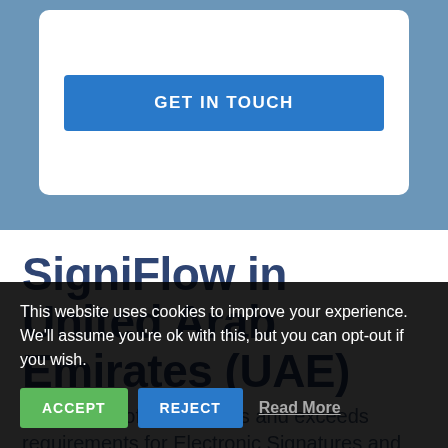[Figure (other): Blue background section with white rounded card containing a blue 'GET IN TOUCH' button]
SigniFlow in United Arab Emirates (UAE)
SigniFlow software meets and exceeds requirements for Electronic Signatures and Advanced Electronic Signatures (AES)...
This website uses cookies to improve your experience. We'll assume you're ok with this, but you can opt-out if you wish.
ACCEPT   REJECT   Read More